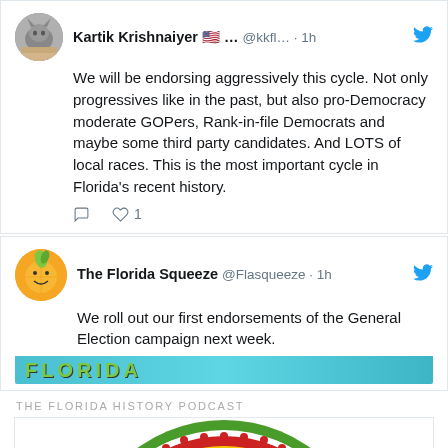[Figure (screenshot): Tweet from Kartik Krishnaiyer with cat avatar, username @kkfl..., 1h ago. Text: We will be endorsing aggressively this cycle. Not only progressives like in the past, but also pro-Democracy moderate GOPers, Rank-in-file Democrats and maybe some third party candidates. And LOTS of local races. This is the most important cycle in Florida's recent history. Heart icon with count 1.]
[Figure (screenshot): Tweet from The Florida Squeeze @Flasqueeze, 1h ago, with orange Florida Squeeze logo. Text: We roll out our first endorsements of the General Election campaign next week. Partial image of Florida banner visible.]
THE FLORIDA HISTORY PODCAST
[Figure (logo): Partial circular logo for Florida History Podcast with green border, red inner ring with dots, and orange/yellow background with text 'FLORIDA HISTORY' visible at bottom.]